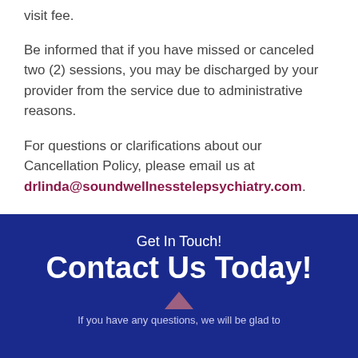visit fee.
Be informed that if you have missed or canceled two (2) sessions, you may be discharged by your provider from the service due to administrative reasons.
For questions or clarifications about our Cancellation Policy, please email us at drlinda@soundwellnesstelepsychiatry.com.
Get In Touch!
Contact Us Today!
If you have any questions, we will be glad to...